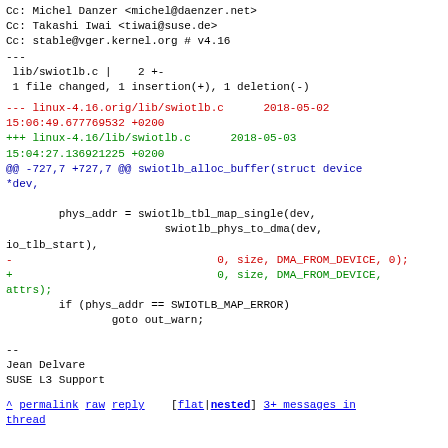Cc: Michel Danzer <michel@daenzer.net>
Cc: Takashi Iwai <tiwai@suse.de>
Cc: stable@vger.kernel.org # v4.16
---
 lib/swiotlb.c |    2 +-
 1 file changed, 1 insertion(+), 1 deletion(-)
--- linux-4.16.orig/lib/swiotlb.c      2018-05-02 15:06:49.677769532 +0200
+++ linux-4.16/lib/swiotlb.c      2018-05-03 15:04:27.136921225 +0200
@@ -727,7 +727,7 @@ swiotlb_alloc_buffer(struct device *dev,

         phys_addr = swiotlb_tbl_map_single(dev,
                         swiotlb_phys_to_dma(dev,
io_tlb_start),
-                                0, size, DMA_FROM_DEVICE, 0);
+                                0, size, DMA_FROM_DEVICE, attrs);
         if (phys_addr == SWIOTLB_MAP_ERROR)
                 goto out_warn;
--
Jean Delvare
SUSE L3 Support
^ permalink  raw  reply     [flat|nested]  3+ messages in thread